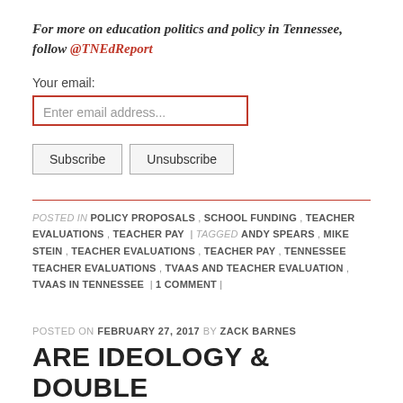For more on education politics and policy in Tennessee, follow @TNEdReport
Your email:
Enter email address...
Subscribe   Unsubscribe
POSTED IN POLICY PROPOSALS , SCHOOL FUNDING , TEACHER EVALUATIONS , TEACHER PAY | TAGGED ANDY SPEARS , MIKE STEIN , TEACHER EVALUATIONS , TEACHER PAY , TENNESSEE TEACHER EVALUATIONS , TVAAS AND TEACHER EVALUATION , TVAAS IN TENNESSEE | 1 COMMENT |
POSTED ON FEBRUARY 27, 2017 BY ZACK BARNES
ARE IDEOLOGY & DOUBLE STANDARDS HARMING